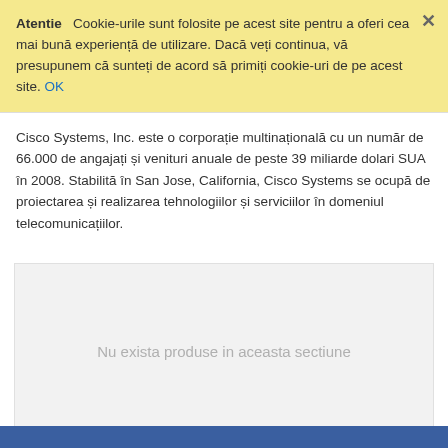Atentie   Cookie-urile sunt folosite pe acest site pentru a oferi cea mai bună experiență de utilizare. Dacă veți continua, vă presupunem că sunteți de acord să primiți cookie-uri de pe acest site. OK
Cisco Systems, Inc. este o corporație multinațională cu un număr de 66.000 de angajați și venituri anuale de peste 39 miliarde dolari SUA în 2008. Stabilită în San Jose, California, Cisco Systems se ocupă de proiectarea și realizarea tehnologiilor și serviciilor în domeniul telecomunicațiilor.
Nu exista produse in aceasta sectiune